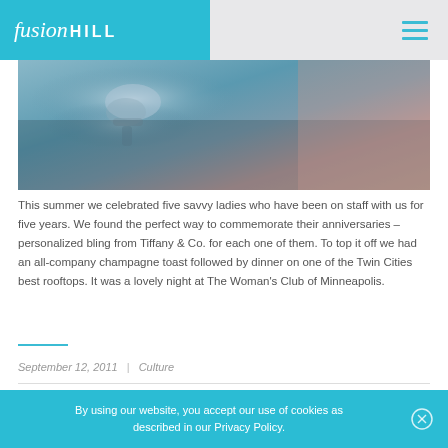fusion HILL
[Figure (photo): Close-up photo of a faucet or water fixture with blueish-gray and pinkish tones]
This summer we celebrated five savvy ladies who have been on staff with us for five years. We found the perfect way to commemorate their anniversaries – personalized bling from Tiffany & Co. for each one of them. To top it off we had an all-company champagne toast followed by dinner on one of the Twin Cities best rooftops. It was a lovely night at The Woman's Club of Minneapolis.
September 12, 2011  |  Culture
By using our website, you accept our use of cookies as described in our Privacy Policy.